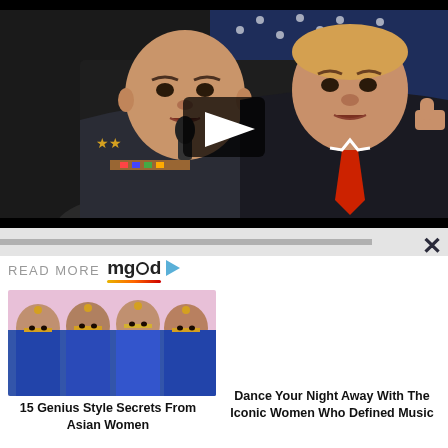[Figure (photo): Video thumbnail showing two men (military officer with decorations at a microphone on the left, man in dark suit with red tie giving thumbs up on the right) against a dark background with a US flag, with a play button overlay]
[Figure (other): Gray progress/seek bar with close X button on the right]
READ MORE mgid ▶
[Figure (photo): Photo of multiple women in traditional Indian blue bridal attire with gold jewelry]
15 Genius Style Secrets From Asian Women
Dance Your Night Away With The Iconic Women Who Defined Music